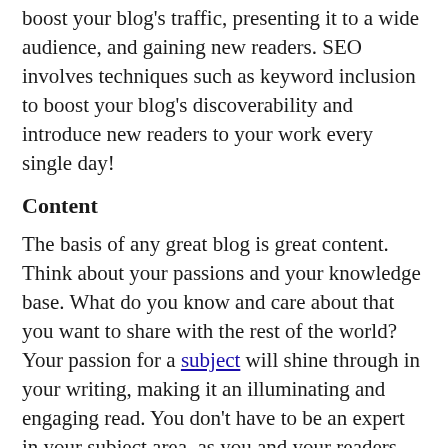boost your blog's traffic, presenting it to a wide audience, and gaining new readers. SEO involves techniques such as keyword inclusion to boost your blog's discoverability and introduce new readers to your work every single day!
Content
The basis of any great blog is great content. Think about your passions and your knowledge base. What do you know and care about that you want to share with the rest of the world? Your passion for a subject will shine through in your writing, making it an illuminating and engaging read. You don't have to be an expert in your subject area, as you and your readers can learn together, explore ideas, and share knowledge. Do you want your blog to have a specific theme, like politics or sport, or would you like it to be more of an online diary, containing all your musings, inspirations, and ideas? The attraction of having your